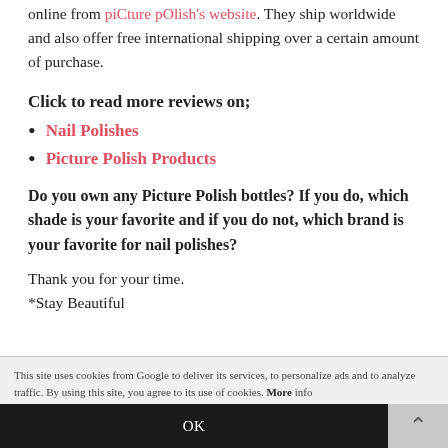online from piCture pOlish's website. They ship worldwide and also offer free international shipping over a certain amount of purchase.
Click to read more reviews on;
Nail Polishes
Picture Polish Products
Do you own any Picture Polish bottles? If you do, which shade is your favorite and if you do not, which brand is your favorite for nail polishes?
Thank you for your time.
*Stay Beautiful
This site uses cookies from Google to deliver its services, to personalize ads and to analyze traffic. By using this site, you agree to its use of cookies. More info